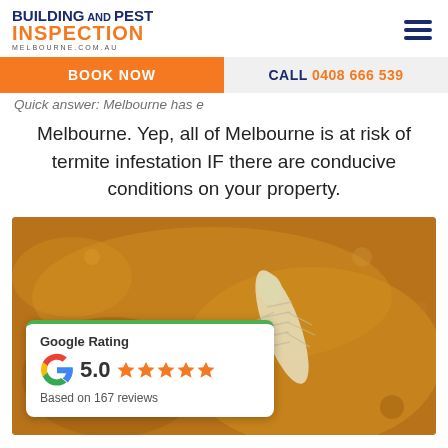[Figure (logo): Building and Pest Inspection Melbourne logo with blue and orange text]
Quick answer: Melbourne has termite activity throughout e Melbourne. Yep, all of Melbourne is at risk of termite infestation IF there are conducive conditions on your property.
[Figure (photo): Close-up macro photo of a termite on a wooden surface]
Google Rating 5.0 ★★★★★ Based on 167 reviews